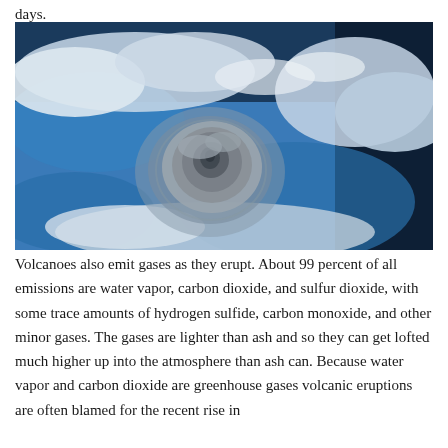days.
[Figure (photo): Aerial/satellite view of a volcanic eruption plume rising through clouds above Earth's surface, photographed from space showing blue ocean and white clouds surrounding the ash column.]
Volcanoes also emit gases as they erupt. About 99 percent of all emissions are water vapor, carbon dioxide, and sulfur dioxide, with some trace amounts of hydrogen sulfide, carbon monoxide, and other minor gases. The gases are lighter than ash and so they can get lofted much higher up into the atmosphere than ash can. Because water vapor and carbon dioxide are greenhouse gases volcanic eruptions are often blamed for the recent rise in...